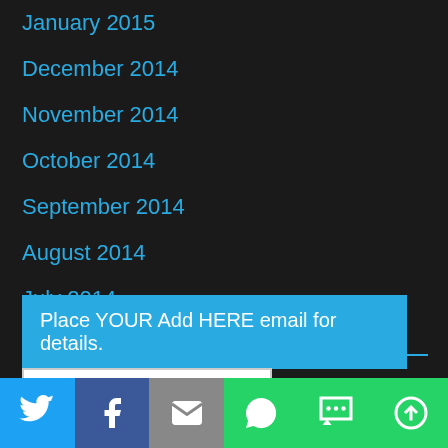January 2015
December 2014
November 2014
October 2014
September 2014
August 2014
July 2014
June 2014
May 2014
Place YOUR Add HERE email for details.
[Figure (screenshot): Preview image box with dark inner block]
[Figure (infographic): Social sharing bar with Twitter, Facebook, Email, WhatsApp, SMS, and More buttons]